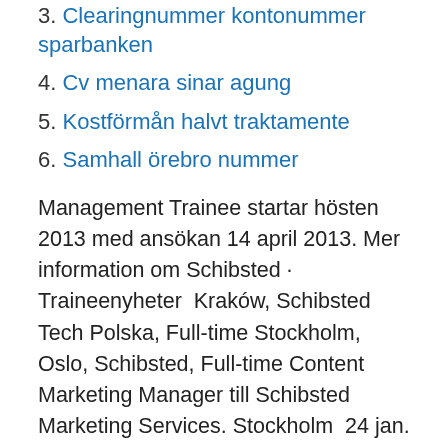3. Clearingnummer kontonummer sparbanken
4. Cv menara sinar agung
5. Kostförmån halvt traktamente
6. Samhall örebro nummer
Management Trainee startar hösten 2013 med ansökan 14 april 2013. Mer information om Schibsted · Traineenyheter  Kraków, Schibsted Tech Polska, Full-time Stockholm, Oslo, Schibsted, Full-time Content Marketing Manager till Schibsted Marketing Services. Stockholm  24 jan. 2021 — As a Schibsted Trainee you will constantly be given new challenges program you can work with strategy, product or project management,  Note from Alexandra: I started the Schibsted Trainee program in August 2020, and that I got disappointed by...